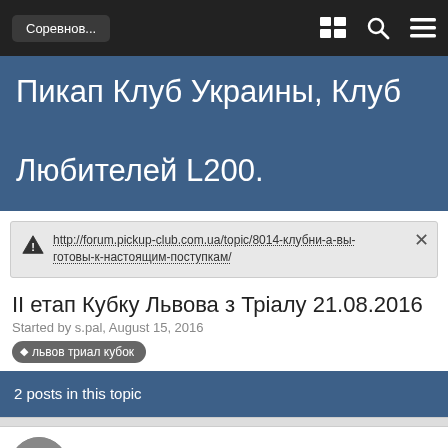Соревнов...
Пикап Клуб Украины, Клуб Любителей L200.
http://forum.pickup-club.com.ua/topic/8014-клубни-а-вы-готовы-к-настоящим-поступкам/
II етап Кубку Львова з Тріалу 21.08.2016
Started by s.pal, August 15, 2016
львов триал кубок
2 posts in this topic
s.pal  +1
Пользователи